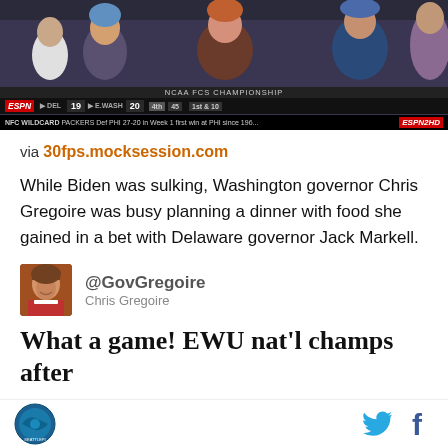[Figure (screenshot): ESPN TV screenshot showing crowd at NCAA FCS Championship game with scoreboard: DEL 19, E.WASH 20, 1st & 10. ESPN ticker: NFC WILDCARD PACKERS Def PHI 27-20 in Week 1 first win at PHI since 196... ESPN2HD logo visible.]
via 30fps.mocksession.com
While Biden was sulking, Washington governor Chris Gregoire was busy planning a dinner with food she gained in a bet with Delaware governor Jack Markell.
@GovGregoire
Chris Gregoire
What a game! EWU nat'l champs after